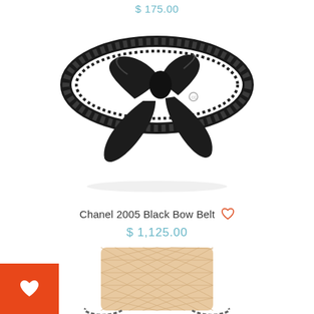$ 175.00
[Figure (photo): Chanel black chain-link belt with large black satin bow and CC logo charm]
Chanel 2005 Black Bow Belt
$ 1,125.00
[Figure (photo): Beige quilted Chanel bag partially visible at bottom of page]
[Figure (other): Orange square button with white heart icon (wishlist/favorite button)]